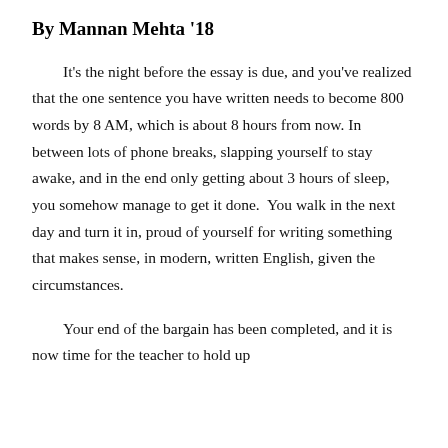By Mannan Mehta '18
It's the night before the essay is due, and you've realized that the one sentence you have written needs to become 800 words by 8 AM, which is about 8 hours from now. In between lots of phone breaks, slapping yourself to stay awake, and in the end only getting about 3 hours of sleep, you somehow manage to get it done.  You walk in the next day and turn it in, proud of yourself for writing something that makes sense, in modern, written English, given the circumstances.
Your end of the bargain has been completed, and it is now time for the teacher to hold up